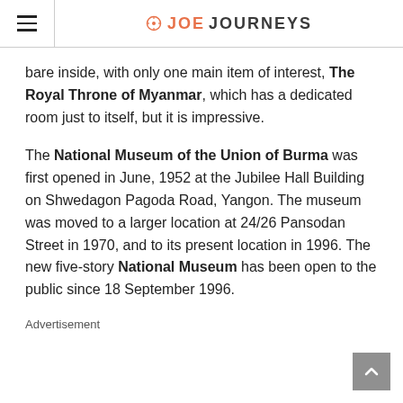JOE JOURNEYS
bare inside, with only one main item of interest, The Royal Throne of Myanmar, which has a dedicated room just to itself, but it is impressive.
The National Museum of the Union of Burma was first opened in June, 1952 at the Jubilee Hall Building on Shwedagon Pagoda Road, Yangon. The museum was moved to a larger location at 24/26 Pansodan Street in 1970, and to its present location in 1996. The new five-story National Museum has been open to the public since 18 September 1996.
Advertisement